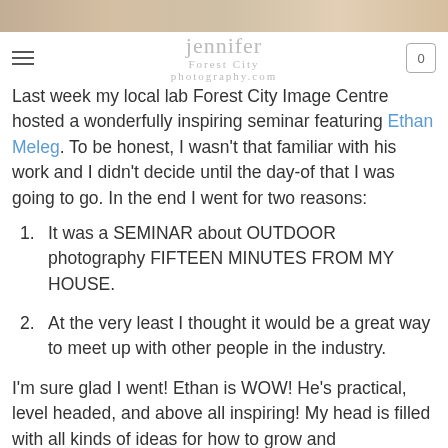[Figure (photo): Partial top banner image showing a muted nature/landscape photo]
jennifer
Forest City
photography.com
[hamburger menu] [cart: 0]
Last week my local lab Forest City Image Centre hosted a wonderfully inspiring seminar featuring Ethan Meleg. To be honest, I wasn't that familiar with his work and I didn't decide until the day-of that I was going to go. In the end I went for two reasons:
It was a SEMINAR about OUTDOOR photography FIFTEEN MINUTES FROM MY HOUSE.
At the very least I thought it would be a great way to meet up with other people in the industry.
I'm sure glad I went! Ethan is WOW! He's practical, level headed, and above all inspiring! My head is filled with all kinds of ideas for how to grow and